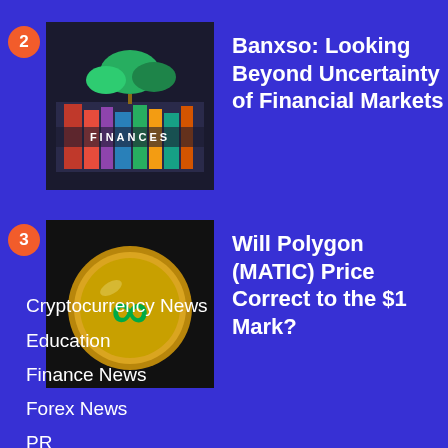2 Banxso: Looking Beyond Uncertainty of Financial Markets
3 Will Polygon (MATIC) Price Correct to the $1 Mark?
Cryptocurrency News
Education
Finance News
Forex News
PR